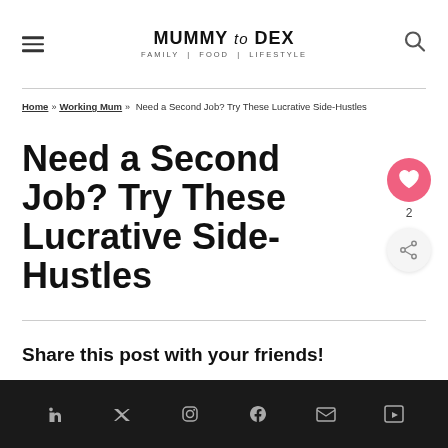MUMMY to DEX — FAMILY | FOOD | LIFESTYLE
Home » Working Mum » Need a Second Job? Try These Lucrative Side-Hustles
Need a Second Job? Try These Lucrative Side-Hustles
Share this post with your friends!